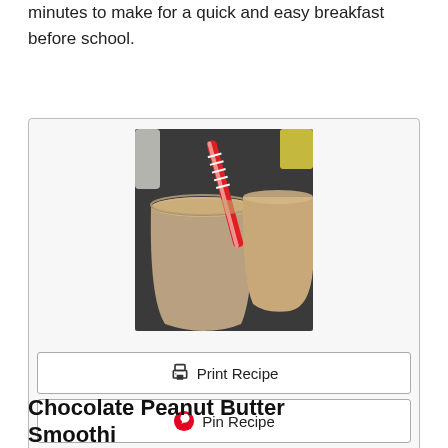minutes to make for a quick and easy breakfast before school.
[Figure (photo): Two glasses of peanut butter smoothie, one with a red and white striped straw, on a dark background]
🖨 Print Recipe
📌 Pin Recipe
⭐ Rate this Recipe
Chocolate Peanut Butter Smoothie